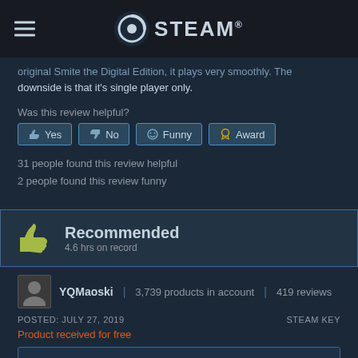STEAM
downside is that it's single player only.
Was this review helpful?
[Figure (screenshot): Row of interaction buttons: Yes (thumbs up), No (thumbs down), Funny (smiley face), Award (ribbon icon)]
31 people found this review helpful
2 people found this review funny
[Figure (infographic): Recommended badge with thumbs up icon, text 'Recommended' and '4.6 hrs on record']
YQMaoski | 3,739 products in account | 419 reviews
POSTED: JULY 27, 2019
STEAM KEY
Product received for free
Follow our curator page: IndieGems if you like and want to